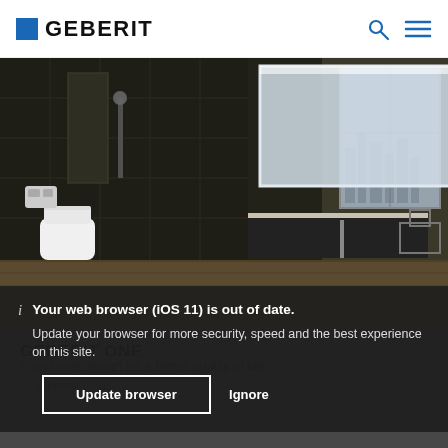GEBERIT
[Figure (photo): Modern dark bathroom with wall-mounted toilet, vanity with illuminated mirror, shower area with dark tiles, and wooden floor accents. Geberit ONE bathroom collection.]
GEBERIT ONE
Functional design for a better quality of life
→ Geberit ONE
i  Your web browser (iOS 11) is out of date.
Update your browser for more security, speed and the best experience on this site.
Update browser   Ignore